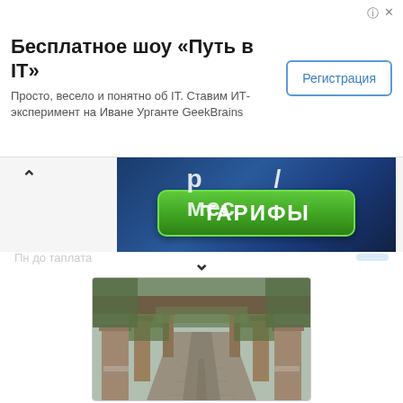Бесплатное шоу «Путь в IT»
Просто, весело и понятно об IT. Ставим ИТ-эксперимент на Иване Урганте GeekBrains
[Figure (screenshot): Advertisement banner with blue background showing green button labeled ТАРИФЫ]
[Figure (photo): Garden pathway with stone pillars and arch covered in ivy, viewed in perspective]